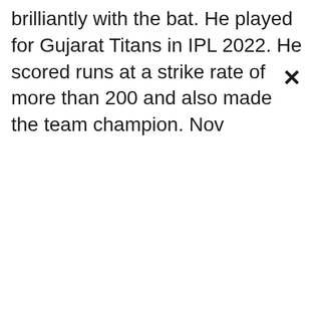brilliantly with the bat. He played for Gujarat Titans in IPL 2022. He scored runs at a strike rate of more than 200 and also made the team champion. Nov